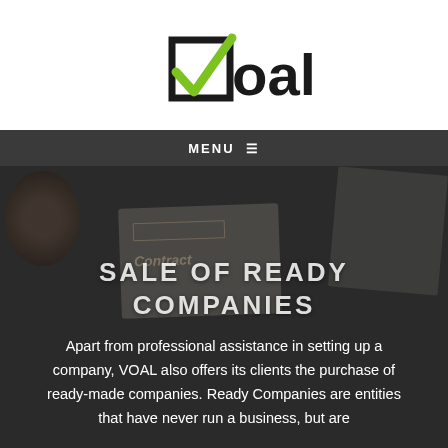[Figure (logo): VOAL logo with green checkmark forming letter V inside a square, text 'oal' in black]
MENU ≡
[Figure (photo): Dark overhead photo of a desk with a coffee cup, a contract document, hands, and a notebook]
SALE OF READY COMPANIES
Apart from professional assistance in setting up a company, VOAL also offers its clients the purchase of ready-made companies. Ready Companies are entities that have never run a business, but are